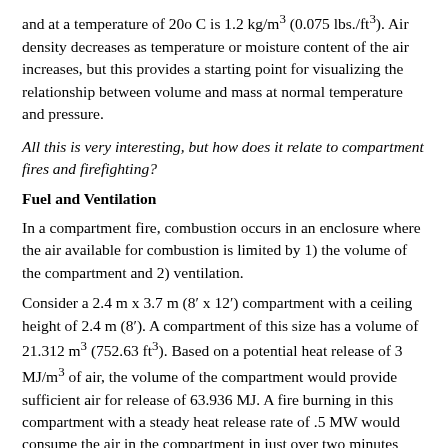and at a temperature of 20o C is 1.2 kg/m³ (0.075 lbs./ft³). Air density decreases as temperature or moisture content of the air increases, but this provides a starting point for visualizing the relationship between volume and mass at normal temperature and pressure.
All this is very interesting, but how does it relate to compartment fires and firefighting?
Fuel and Ventilation
In a compartment fire, combustion occurs in an enclosure where the air available for combustion is limited by 1) the volume of the compartment and 2) ventilation.
Consider a 2.4 m x 3.7 m (8′ x 12′) compartment with a ceiling height of 2.4 m (8′). A compartment of this size has a volume of 21.312 m³ (752.63 ft³). Based on a potential heat release of 3 MJ/m³ of air, the volume of the compartment would provide sufficient air for release of 63.936 MJ. A fire burning in this compartment with a steady heat release rate of .5 MW would consume the air in the compartment in just over two minutes (127.8 seconds). However, this is an extreme oversimplification as fires generally begin with a low heat release rate and grow until they become limited by the availability of fuel or oxygen. In this